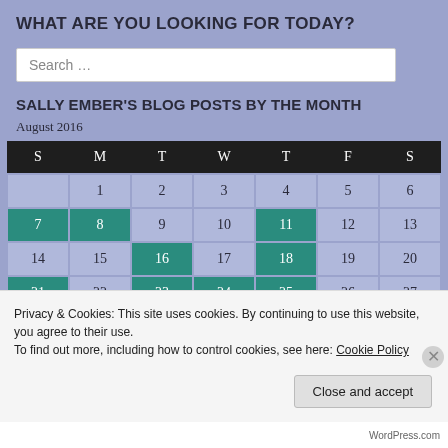WHAT ARE YOU LOOKING FOR TODAY?
Search …
SALLY EMBER'S BLOG POSTS BY THE MONTH
August 2016
| S | M | T | W | T | F | S |
| --- | --- | --- | --- | --- | --- | --- |
|  | 1 | 2 | 3 | 4 | 5 | 6 |
| 7 | 8 | 9 | 10 | 11 | 12 | 13 |
| 14 | 15 | 16 | 17 | 18 | 19 | 20 |
| 21 | 22 | 23 | 24 | 25 | 26 | 27 |
| 28 | 29 | 30 | 31 |  |  |  |
Privacy & Cookies: This site uses cookies. By continuing to use this website, you agree to their use.
To find out more, including how to control cookies, see here: Cookie Policy
Close and accept